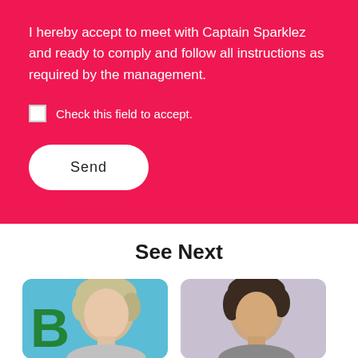I hereby accept to meet with Captain Sparklez and ready to comply and follow all instructions as required by the management.
Check this field to accept.
Send
See Next
[Figure (photo): Thumbnail photo of a person with blonde/gray hair against a blue background with partial letter B visible]
[Figure (photo): Thumbnail photo of a person with dark brown hair against a light purple/gray background]